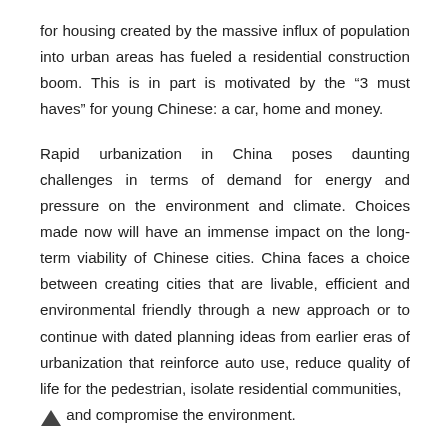for housing created by the massive influx of population into urban areas has fueled a residential construction boom. This is in part is motivated by the “3 must haves” for young Chinese: a car, home and money.
Rapid urbanization in China poses daunting challenges in terms of demand for energy and pressure on the environment and climate. Choices made now will have an immense impact on the long-term viability of Chinese cities. China faces a choice between creating cities that are livable, efficient and environmental friendly through a new approach or to continue with dated planning ideas from earlier eras of urbanization that reinforce auto use, reduce quality of life for the pedestrian, isolate residential communities, and compromise the environment.